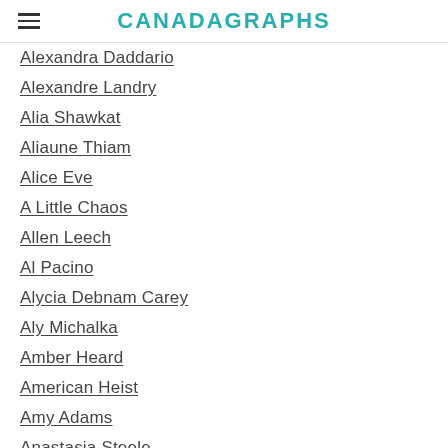CANADAGRAPHS
Alexandra Daddario
Alexandre Landry
Alia Shawkat
Aliaune Thiam
Alice Eve
A Little Chaos
Allen Leech
Al Pacino
Alycia Debnam Carey
Aly Michalka
Amber Heard
American Heist
Amy Adams
Anastasia Steele
Andrew Garfield